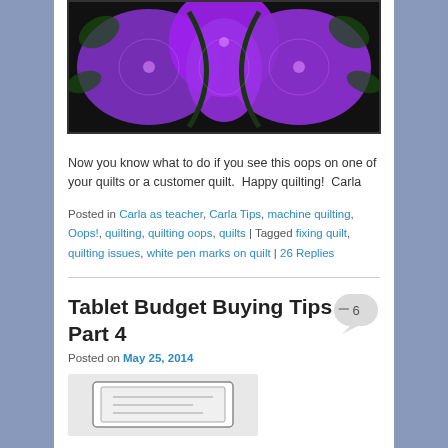[Figure (photo): Purple quilted fabric with decorative quilting patterns on a dark green background]
Now you know what to do if you see this oops on one of your quilts or a customer quilt.  Happy quilting!  Carla
Posted in Carla as teacher, Carla Tips, machine quilting, Oops!, quilting, quilting oops, quilts | Tagged fixing quilt, quilting issues, white pen marks on quilt | 26 Replies
Tablet Budget Buying Tips – Part 4
Posted on May 25, 2014
[Figure (photo): Small partial image of a tablet device diagram at bottom of page]